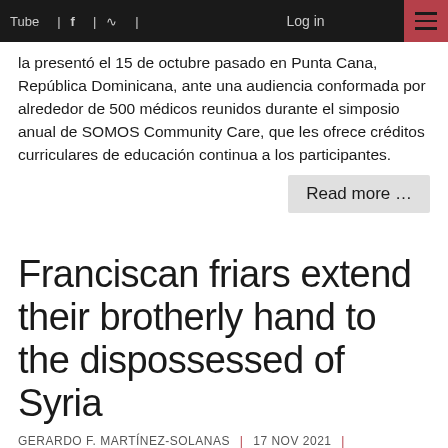Tube | f | (rss) | Log in | (menu)
la presentó el 15 de octubre pasado en Punta Cana, República Dominicana, ante una audiencia conformada por alrededor de 500 médicos reunidos durante el simposio anual de SOMOS Community Care, que les ofrece créditos curriculares de educación continua a los participantes.
Read more …
Franciscan friars extend their brotherly hand to the dispossessed of Syria
GERARDO F. MARTÍNEZ-SOLANAS | 17 Nov 2021 |